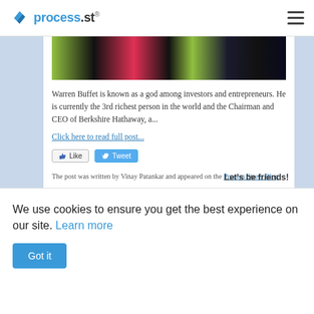process.st
[Figure (photo): Cropped photo of people standing together, showing colorful clothing in green, red, and dark blue/navy tones]
Warren Buffet is known as a god among investors and entrepreneurs. He is currently the 3rd richest person in the world and the Chairman and CEO of Berkshire Hathaway, a...
Click here to read full post...
[Figure (screenshot): Like and Tweet social media buttons]
The post was written by Vinay Patankar and appeared on the Process Street Blog
[Figure (logo): Process Street logo with highlighted blue background on 'Process' word]
Let's be friends!
We use cookies to ensure you get the best experience on our site. Learn more
Got it